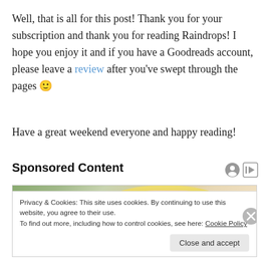Well, that is all for this post! Thank you for your subscription and thank you for reading Raindrops! I hope you enjoy it and if you have a Goodreads account, please leave a review after you've swept through the pages 🙂
Have a great weekend everyone and happy reading!
Sponsored Content
[Figure (photo): Photo of a blonde woman looking down, used as a sponsored content advertisement image]
Privacy & Cookies: This site uses cookies. By continuing to use this website, you agree to their use.
To find out more, including how to control cookies, see here: Cookie Policy
Close and accept